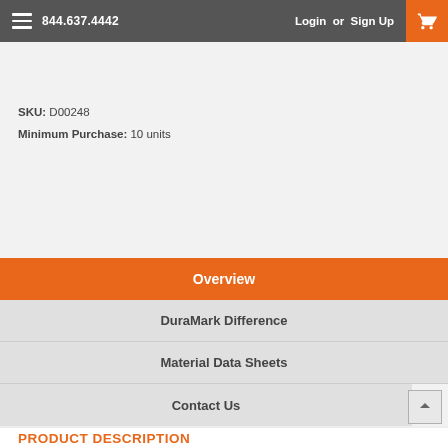844.637.4442  Login or Sign Up
SKU: D00248
Minimum Purchase: 10 units
Overview
DuraMark Difference
Material Data Sheets
Contact Us
PRODUCT DESCRIPTION